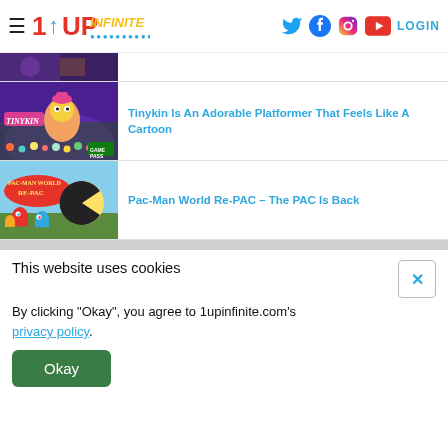1UP Infinite — navigation header with hamburger menu, logo, social icons (Twitter, Facebook, Instagram, YouTube), LOGIN
[Figure (screenshot): Partial game thumbnail at top, cropped]
[Figure (screenshot): Tinykin game screenshot thumbnail showing colorful platformer art with tiny creatures and character]
Tinykin Is An Adorable Platformer That Feels Like A Cartoon
[Figure (screenshot): Pac-Man World Re-PAC game thumbnail showing Pac-Man and ghost characters in colorful 3D world]
Pac-Man World Re-PAC – The PAC Is Back
This website uses cookies
By clicking "Okay", you agree to 1upinfinite.com's privacy policy.
Okay